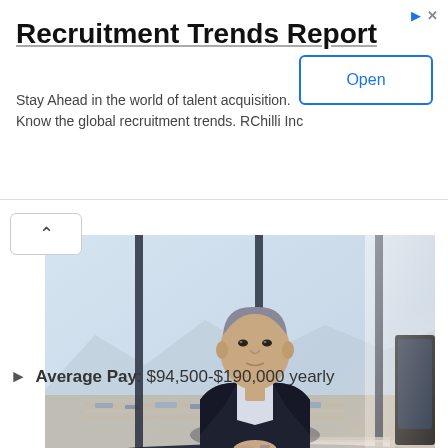Recruitment Trends Report
Stay Ahead in the world of talent acquisition. Know the global recruitment trends. RChilli Inc
[Figure (photo): Middle-aged businessman in dark blazer sitting at a glass desk in a modern office with large windows overlooking a highway and industrial area; a computer monitor is visible on the right side of the desk.]
▶ Average Pay: $94,500-$190,000 yearly